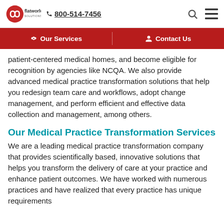flatworld solutions | 800-514-7456
Our Services | Contact Us
patient-centered medical homes, and become eligible for recognition by agencies like NCQA. We also provide advanced medical practice transformation solutions that help you redesign team care and workflows, adopt change management, and perform efficient and effective data collection and management, among others.
Our Medical Practice Transformation Services
We are a leading medical practice transformation company that provides scientifically based, innovative solutions that helps you transform the delivery of care at your practice and enhance patient outcomes. We have worked with numerous practices and have realized that every practice has unique requirements